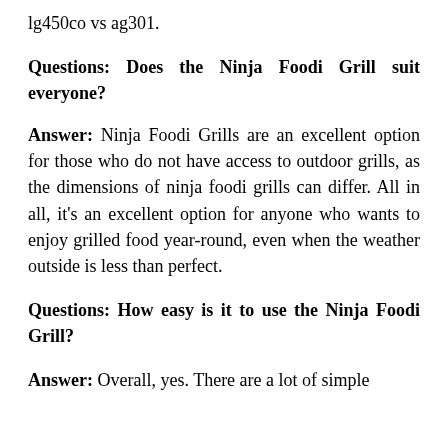lg450co vs ag301.
Questions: Does the Ninja Foodi Grill suit everyone?
Answer: Ninja Foodi Grills are an excellent option for those who do not have access to outdoor grills, as the dimensions of ninja foodi grills can differ. All in all, it's an excellent option for anyone who wants to enjoy grilled food year-round, even when the weather outside is less than perfect.
Questions: How easy is it to use the Ninja Foodi Grill?
Answer: Overall, yes. There are a lot of simple